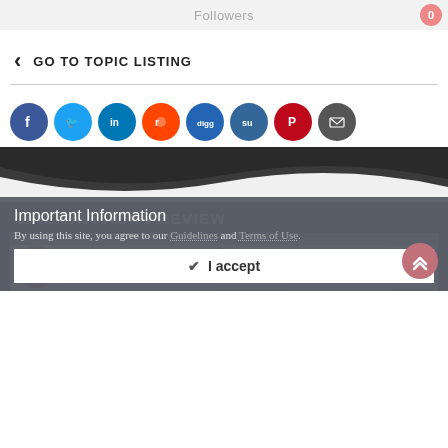Followers 0
GO TO TOPIC LISTING
[Figure (infographic): Row of social share icons: Facebook, Twitter, LinkedIn, Reddit, Digg, StumbleUpon, Pinterest, Email]
CINEMAVISION PREVIEW
[Figure (screenshot): Screenshot showing CinemaVision forum post titled 'Presenting CinemaVision!' with a red cartoon avatar]
Important Information
By using this site, you agree to our Guidelines and Terms of Use.
I accept